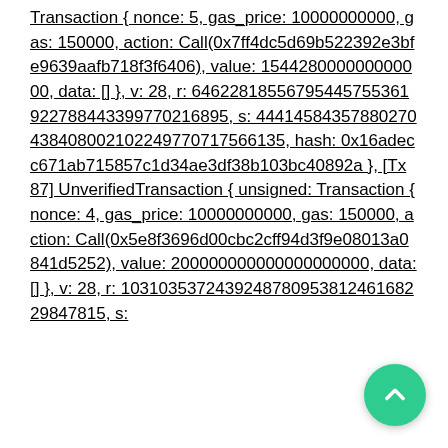Transaction { nonce: 5, gas_price: 10000000000, gas: 150000, action: Call(0x7ff4dc5d69b522392e3bfe9639aafb718f3f6406), value: 154428000000000000, data: [] }, v: 28, r: 64622818556795445755361922788443399770216895, s: 44414584357880270438408002102249770717566135, hash: 0x16adecc671ab715857c1d34ae3df38b103bc40892a }, [Tx 87] UnverifiedTransaction { unsigned: Transaction { nonce: 4, gas_price: 10000000000, gas: 150000, action: Call(0x5e8f3696d00cbc2cff94d3f9e08013a0841d5252), value: 200000000000000000000, data: [] }, v: 28, r: 103103537243924878095381246168229847815, s: